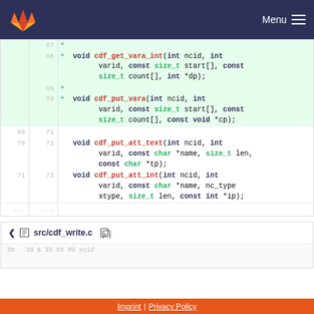GitLab — Menu
[Figure (screenshot): Code diff view showing lines 67–73 with added lines (68–70) highlighted in green. Functions: cdf_get_vara_int, cdf_put_vara, cdf_put_att_text, cdf_put_att_int with C syntax highlighting.]
v src/cdf_write.c
Imprint | Privacy Policy